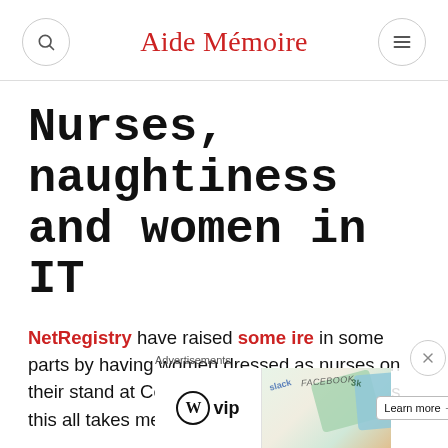Aide Mémoire
Nurses, naughtiness and women in IT
NetRegistry have raised some ire in some parts by having women dressed as nurses on their stand at CeBIT in Sydney.  In some ways this all takes me back
[Figure (screenshot): Advertisement banner showing WordPress VIP logo with colorful card graphics and a Learn more button. 'Advertisements' label above.]